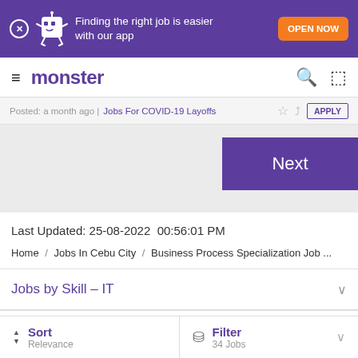[Figure (screenshot): Purple app promotion banner with Monster mascot, 'Finding the right job is easier with our app' text, and orange OPEN NOW button]
monster
Posted: a month ago | Jobs For COVID-19 Layoffs   APPLY
Next
Last Updated: 25-08-2022  00:56:01 PM
Home / Jobs In Cebu City / Business Process Specialization Job ...
Jobs by Skill – IT
Sort Relevance   Filter 34 Jobs